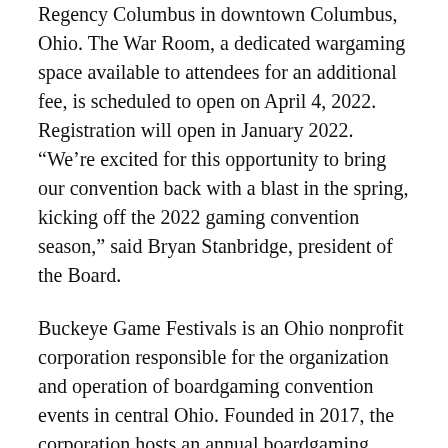Regency Columbus in downtown Columbus, Ohio. The War Room, a dedicated wargaming space available to attendees for an additional fee, is scheduled to open on April 4, 2022. Registration will open in January 2022. “We’re excited for this opportunity to bring our convention back with a blast in the spring, kicking off the 2022 gaming convention season,” said Bryan Stanbridge, president of the Board.
Buckeye Game Festivals is an Ohio nonprofit corporation responsible for the organization and operation of boardgaming convention events in central Ohio. Founded in 2017, the corporation hosts an annual boardgaming convention, Buckeye Game Fest, featuring the library of the Columbus Area Boardgaming Society (CABS) with over 500 unique attendees. The corporation also manages the Board Room at Origins Game Fair, a national convention